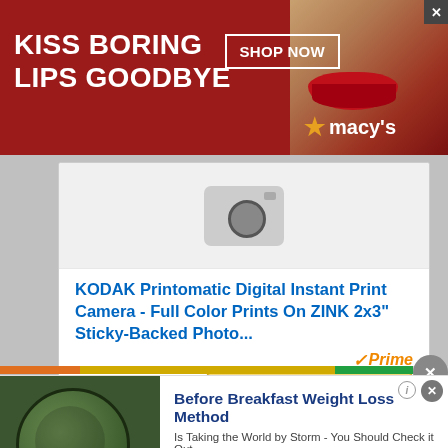[Figure (screenshot): Macy's advertisement banner with red background, woman's lips, text 'KISS BORING LIPS GOODBYE', 'SHOP NOW' button, and Macy's star logo]
[Figure (screenshot): Amazon product listing card for KODAK Printomatic Digital Instant Print Camera with product image placeholder, blue title text, Amazon Prime badge, and gold 'VIEW PRODUCT' button]
KODAK Printomatic Digital Instant Print Camera - Full Color Prints On ZINK 2x3" Sticky-Backed Photo...
[Figure (screenshot): Bottom advertisement for 'Before Breakfast Weight Loss Method' with image of bowl, subtitle 'Is Taking the World by Storm - You Should Check it Out', link naturalhealthcures.net, and blue arrow button]